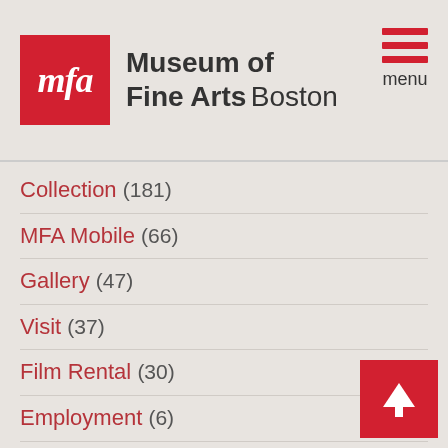[Figure (logo): Museum of Fine Arts Boston logo with red MFA square and text]
Collection (181)
MFA Mobile (66)
Gallery (47)
Visit (37)
Film Rental (30)
Employment (6)
Video Rental (4)
Hardcover (3)
Product (1)
(-) Publication (148)
(-) Program (107)